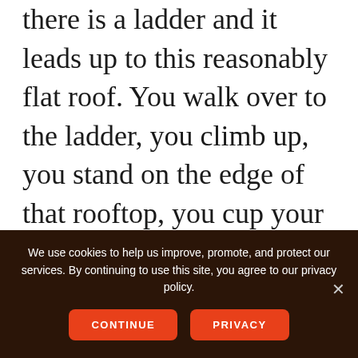there is a ladder and it leads up to this reasonably flat roof. You walk over to the ladder, you climb up, you stand on the edge of that rooftop, you cup your hands around your mouth, and you say, listen to me, beautiful people.

Here is what you need to know to
We use cookies to help us improve, promote, and protect our services. By continuing to use this site, you agree to our privacy policy.
CONTINUE   PRIVACY